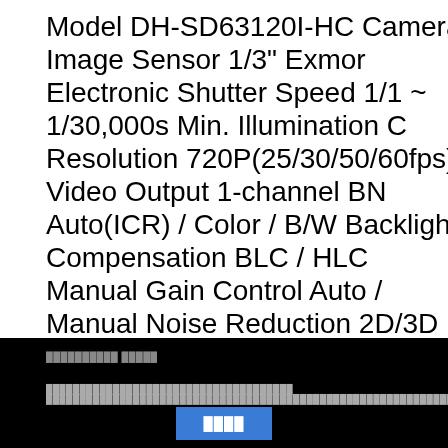Model DH-SD63120I-HC Camera Image Sensor 1/3" Exmor Electronic Shutter Speed 1/1 ~ 1/30,000s Min. Illumination C Resolution 720P(25/30/50/60fps) Video Output 1-channel BN Auto(ICR) / Color / B/W Backlight Compensation BLC / HLC Manual Gain Control Auto / Manual Noise Reduction 2D/3D I 4.7mm~94mm(20x Optical zoom) Max Aperture F1.4 ~ F2.6 Distance 100mm~ 1000mm PTZ Pan/Tilt Range Pan: 0° ~ 36 ~300° /s; Tilt: 0.1° ~250° /s Preset Speed Pan: 400° /s; Tilt: 3 Auto Pan, Auto Scan Speed Setup Human-oriented focal len lens status after power failure Idle Motion Activate Preset/ Pa Time Task Auto activation of Preset/ Pan/ Scan/ Tour/ Patter Interface 1 channel In Auxiliary Interface RS485 1 Alarm 2/1 Consumption 9.5W, 21W (Heater on) Working Environment - Resistance IK10 Dimensions Φ222(mm) x 322(mm) Weight 7
ตัวอย่างหน้าเพจ